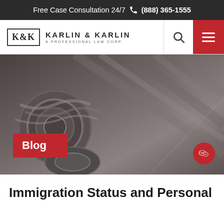Free Case Consultation 24/7 📞 (888) 365-1555
[Figure (logo): Karlin & Karlin A Professional Law Corp logo with K&K monogram in bordered box]
[Figure (photo): Grayscale close-up photo of ornate classical architectural stone column details with decorative molding, with a red 'Blog' label overlay in bottom-left and a red circular WeChat button in bottom-right]
Immigration Status and Personal